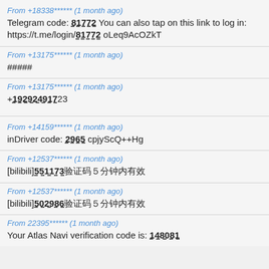From +18338****** (1 month ago)
Telegram code: 81772 You can also tap on this link to log in: https://t.me/login/81772 oLeq9AcOZkT
From +13175****** (1 month ago)
#####
From +13175****** (1 month ago)
+192924917​23
From +14159****** (1 month ago)
inDriver code: 2965 cpjyScQ++Hg
From +12537****** (1 month ago)
[bilibili]551173验证码5分钟内有效
From +12537****** (1 month ago)
[bilibili]502986验证码5分钟内有效
From 22395****** (1 month ago)
Your Atlas Navi verification code is: 148081